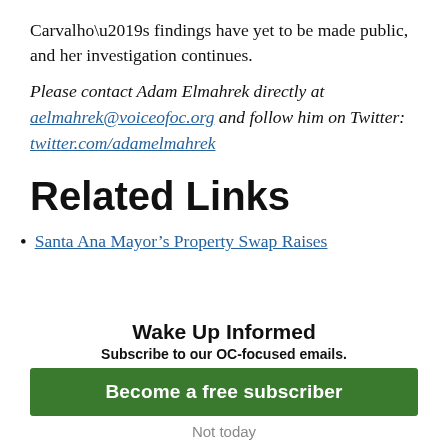Carvalho’s findings have yet to be made public, and her investigation continues.
Please contact Adam Elmahrek directly at aelmahrek@voiceofoc.org and follow him on Twitter: twitter.com/adamelmahrek
Related Links
Santa Ana Mayor’s Property Swap Raises
Wake Up Informed
Subscribe to our OC-focused emails.
Become a free subscriber
Not today